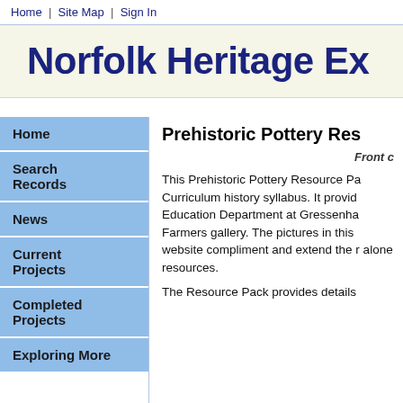Home | Site Map | Sign In
Norfolk Heritage Ex
Home
Search Records
News
Current Projects
Completed Projects
Exploring More
Prehistoric Pottery Res
Front c
This Prehistoric Pottery Resource Pa… Curriculum history syllabus. It provid… Education Department at Gressenha… Farmers gallery. The pictures in this… website compliment and extend the r… alone resources.
The Resource Pack provides details…